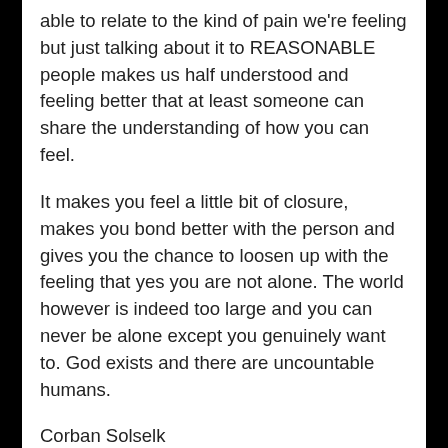able to relate to the kind of pain we're feeling but just talking about it to REASONABLE people makes us half understood and feeling better that at least someone can share the understanding of how you can feel.
It makes you feel a little bit of closure, makes you bond better with the person and gives you the chance to loosen up with the feeling that yes you are not alone. The world however is indeed too large and you can never be alone except you genuinely want to. God exists and there are uncountable humans.
Corban Solselk
He was the university student who had to use